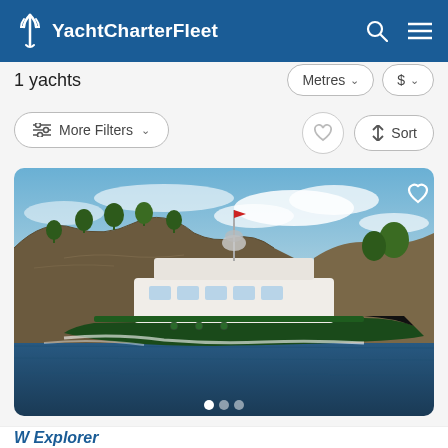YachtCharterFleet
1 yachts
Metres
$
More Filters
Sort
[Figure (photo): A large green and white motor yacht sailing on blue water with rocky cliffs and trees in the background under a partly cloudy sky. Three navigation dots visible at the bottom of the image.]
W Explorer